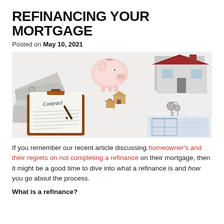REFINANCING YOUR MORTGAGE
Posted on May 10, 2021
[Figure (photo): Flat lay photo showing a contract on a clipboard, scattered US dollar bills, a piggy bank, small wooden house figurines, house keys, a small model house with a red roof, and blueprint documents on a white surface.]
If you remember our recent article discussing homeowner's and their regrets on not completing a refinance on their mortgage, then it might be a good time to dive into what a refinance is and how you go about the process.
What is a refinance?